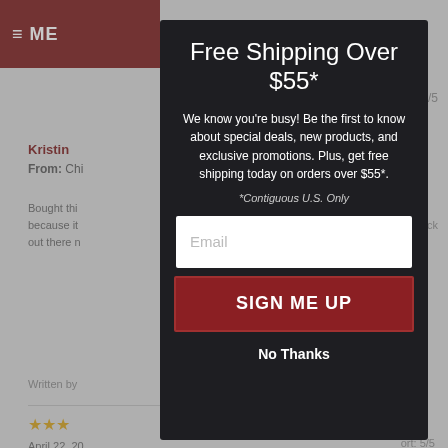Free Shipping Over $55*
We know you’re busy! Be the first to know about special deals, new products, and exclusive promotions. Plus, get free shipping today on orders over $55*.
*Contiguous U.S. Only
Email
SIGN ME UP
No Thanks